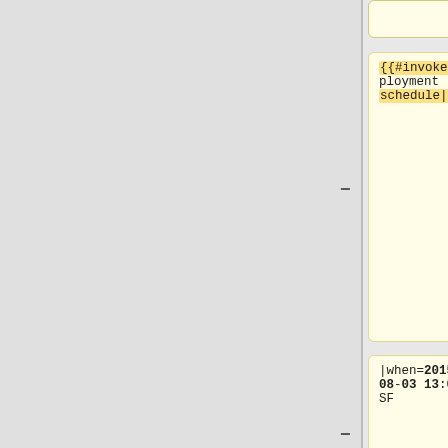[Figure (screenshot): Diff view showing code comparison with yellow (removed) and blue (added) boxes. Removed box: {{#invoke:Deployment schedule|row. Added box: ==={{Deployment_day|date=2022-05-18}}===. Removed box: |when=2015-08-03 13:00 SF. Added box: {{Deployment calendar event card. Removed box: |length=1. Added box: |when=2022-05-18 00:00 SF. Removed box: |window=[[mw:Services|Services]] - [[mw:Parsoid/Deployments. Added box: |length=1]